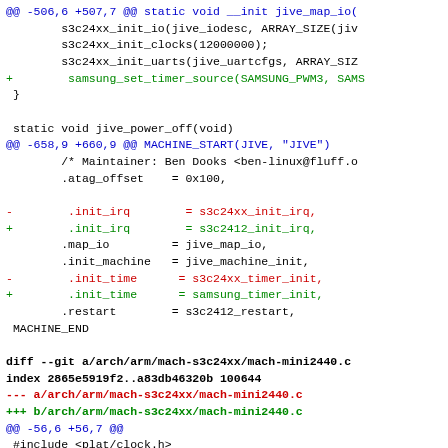Git diff code patch showing changes to jive and mini2440 machine files, including timer source, init_irq, init_time, and restart modifications.